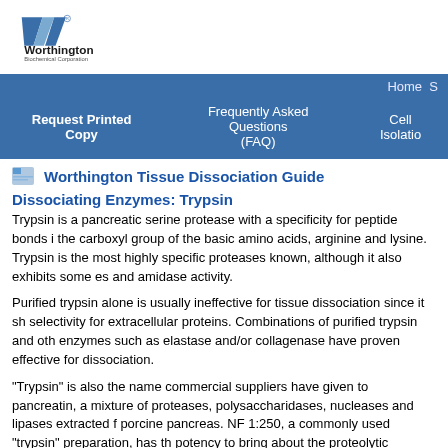[Figure (logo): Worthington Biochemical Corporation logo with blue V-shape and text]
Home  S
Request Printed Copy   Frequently Asked Questions (FAQ)   Cell Isolatio
Worthington Tissue Dissociation Guide
Dissociating Enzymes: Trypsin
Trypsin is a pancreatic serine protease with a specificity for peptide bonds i the carboxyl group of the basic amino acids, arginine and lysine. Trypsin is the most highly specific proteases known, although it also exhibits some es and amidase activity.
Purified trypsin alone is usually ineffective for tissue dissociation since it sh selectivity for extracellular proteins. Combinations of purified trypsin and oth enzymes such as elastase and/or collagenase have proven effective for dissociation.
"Trypsin" is also the name commercial suppliers have given to pancreatin, a mixture of proteases, polysaccharidases, nucleases and lipases extracted f porcine pancreas. NF 1:250, a commonly used "trypsin" preparation, has th potency to bring about the proteolytic digestion of 250 times its weight of ca under assay conditions specified by the National Formulary. It is important t that this assay procedure is not specific for trypsin, although pancreatin doe contain this enzyme. Nomenclature notwithstanding, crude "trypsins" like N and 1:300 are widely used for dissociating tissues and are shown on the